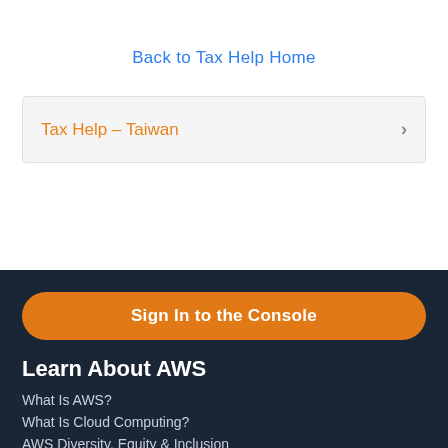Back to Tax Help Home
Tax Help – Taiwan
Sign In to the Console
Learn About AWS
What Is AWS?
What Is Cloud Computing?
AWS Diversity, Equity & Inclusion
What Is DevOps?
What Is a Container?